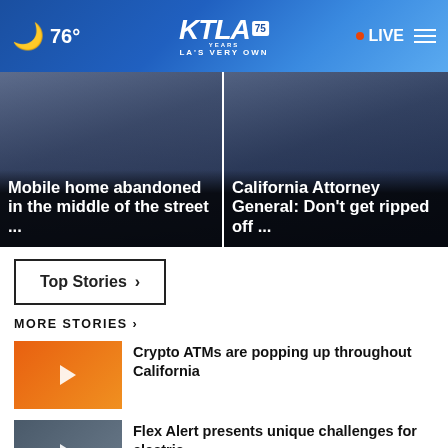🌙 76° | KTLA 75 YEARS LA'S VERY OWN | • LIVE ☰
[Figure (photo): Hero image left: Mobile home abandoned in the middle of the street ...]
[Figure (photo): Hero image right: California Attorney General: Don't get ripped off ...]
Top Stories ›
MORE STORIES ›
[Figure (photo): Thumbnail: Crypto ATMs video thumbnail with orange background and play button]
Crypto ATMs are popping up throughout California
[Figure (photo): Thumbnail: Flex Alert charger video thumbnail and play button]
Flex Alert presents unique challenges for electric ...
[Figure (photo): Thumbnail: third story thumbnail, partially visible]